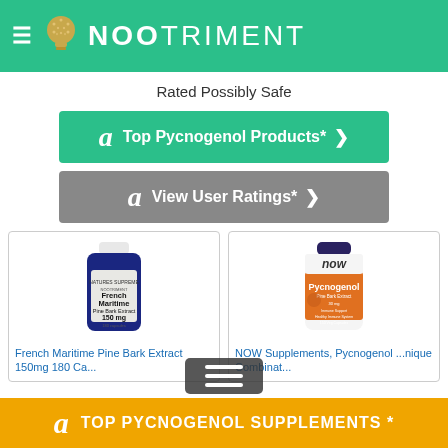NOOTRIMENT
Rated Possibly Safe
[Figure (other): Green Amazon button: Top Pycnogenol Products* with chevron]
[Figure (other): Gray Amazon button: View User Ratings* with chevron]
[Figure (other): Product card: French Maritime Pine Bark Extract 150mg 180 Ca... supplement bottle (blue)]
[Figure (other): Product card: NOW Supplements, Pycnogenol ...nique Combinat... supplement bottle (orange/white)]
French Maritime Pine Bark Extract 150mg 180 Ca...
NOW Supplements, Pycnogenol ...nique Combinat...
TOP PYCNOGENOL SUPPLEMENTS *